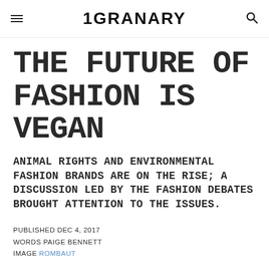1GRANARY
THE FUTURE OF FASHION IS VEGAN
ANIMAL RIGHTS AND ENVIRONMENTAL FASHION BRANDS ARE ON THE RISE; A DISCUSSION LED BY THE FASHION DEBATES BROUGHT ATTENTION TO THE ISSUES.
PUBLISHED DEC 4, 2017
WORDS PAIGE BENNETT
IMAGE ROMBAUT